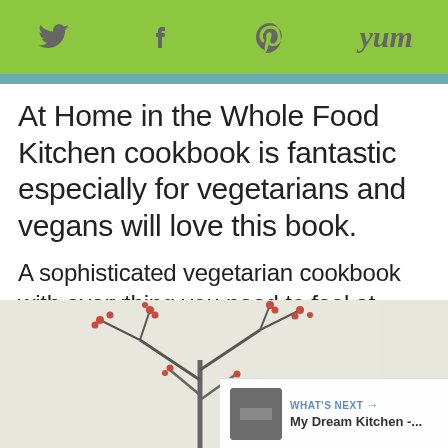Twitter Facebook Pinterest Yum
At Home in the Whole Food Kitchen cookbook is fantastic especially for vegetarians and vegans will love this book.
A sophisticated vegetarian cookbook with everything you need to feel at home in the kitchen, cooking in the most nourishing and delicious ways.
[Figure (photo): Winter tree branches with small red berries against a light background, with a 'What's Next' overlay showing 'My Dream Kitchen -...' thumbnail]